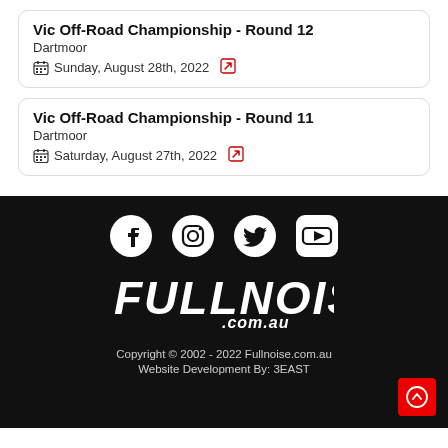Vic Off-Road Championship - Round 12
Dartmoor
Sunday, August 28th, 2022
Vic Off-Road Championship - Round 11
Dartmoor
Saturday, August 27th, 2022
[Figure (logo): Social media icons: Facebook, Instagram, Twitter, YouTube in white on black background]
[Figure (logo): Fullnoise.com.au logo in white italic bold text on black background]
Copyright © 2002 - 2022 Fullnoise.com.au
Website Development By: 3EAST